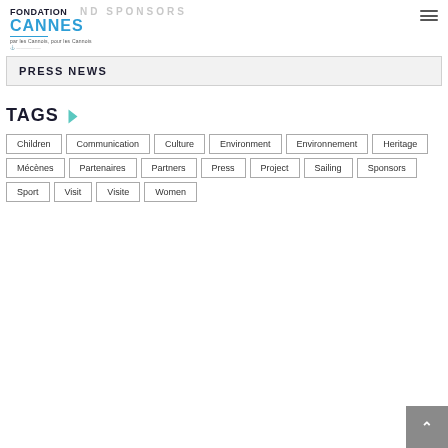Fondation Cannes - par les Cannois, pour les Cannois
GRAND SPONSORS
PRESS NEWS
TAGS
Children
Communication
Culture
Environment
Environnement
Heritage
Mécènes
Partenaires
Partners
Press
Project
Sailing
Sponsors
Sport
Visit
Visite
Women